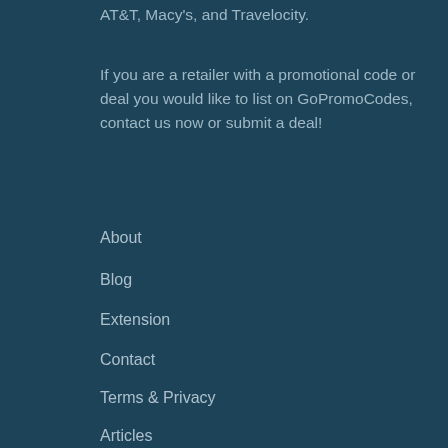AT&T, Macy's, and Travelocity.
If you are a retailer with a promotional code or deal you would like to list on GoPromoCodes, contact us now or submit a deal!
About
Blog
Extension
Contact
Terms & Privacy
Articles
About Online Promo Codes
According to Compete.com, more than 57% of consumers who used a coupon code during their